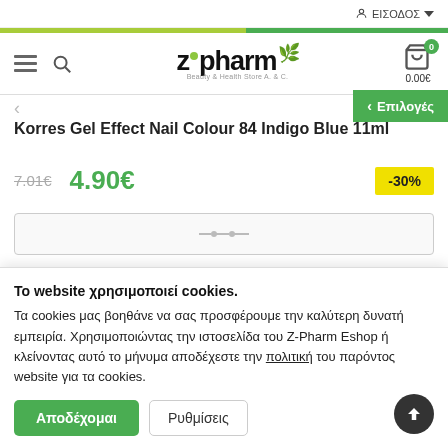ΕΙΣΟΔΟΣ
[Figure (logo): z•pharm logo with green leaf and tagline Beauty & Health Store A.E.]
Korres Gel Effect Nail Colour 84 Indigo Blue 11ml
7.01€  4.90€  -30%
Το website χρησιμοποιεί cookies.
Τα cookies μας βοηθάνε να σας προσφέρουμε την καλύτερη δυνατή εμπειρία. Χρησιμοποιώντας την ιστοσελίδα του Z-Pharm Eshop ή κλείνοντας αυτό το μήνυμα αποδέχεστε την πολιτική του παρόντος website για τα cookies.
Αποδέχομαι  Ρυθμίσεις